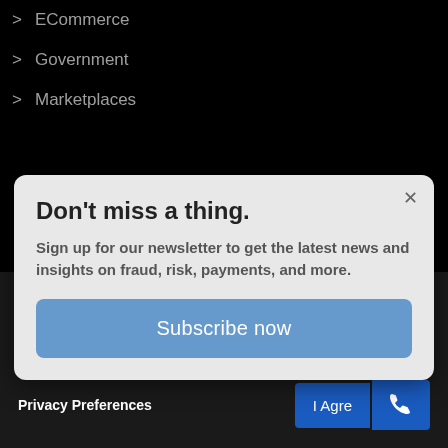> ECommerce
> Government
> Marketplaces
Don't miss a thing.
Sign up for our newsletter to get the latest news and insights on fraud, risk, payments, and more.
Subscribe now
> About Us
Our site uses cookies so that we can remember you and understand how you use our site. By accepting you agree to the use of the cookies as they are currently set.
Privacy Preferences
I Agree